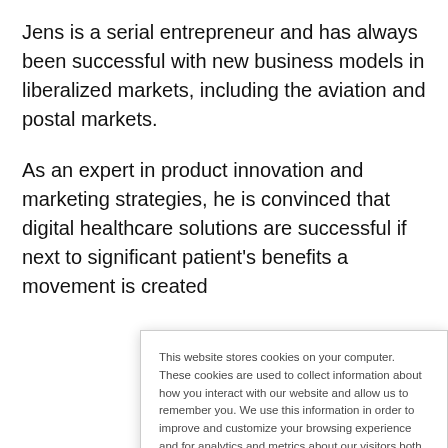Jens is a serial entrepreneur and has always been successful with new business models in liberalized markets, including the aviation and postal markets.

As an expert in product innovation and marketing strategies, he is convinced that digital healthcare solutions are successful if next to significant patient's benefits a movement is created
This website stores cookies on your computer. These cookies are used to collect information about how you interact with our website and allow us to remember you. We use this information in order to improve and customize your browsing experience and for analytics and metrics about our visitors both on this website and other media. To find out more about the cookies we use, see our Privacy Policy. Read More
If you decline, your information won't be tracked when you visit this website. A single cookie will be used in your browser to remember your preference not to be tracked.
Accept
Decline